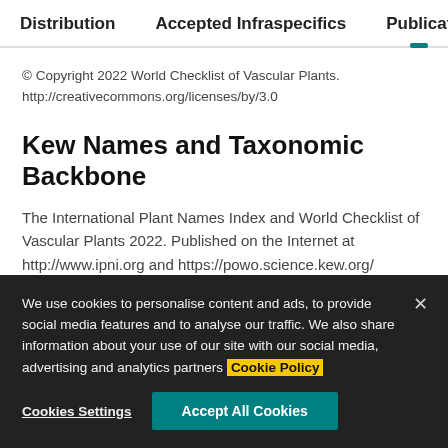Distribution   Accepted Infraspecifics   Publications
© Copyright 2022 World Checklist of Vascular Plants.
http://creativecommons.org/licenses/by/3.0
Kew Names and Taxonomic Backbone
The International Plant Names Index and World Checklist of Vascular Plants 2022. Published on the Internet at http://www.ipni.org and https://powo.science.kew.org/
We use cookies to personalise content and ads, to provide social media features and to analyse our traffic. We also share information about your use of our site with our social media, advertising and analytics partners Cookie Policy
Cookies Settings   Accept All Cookies